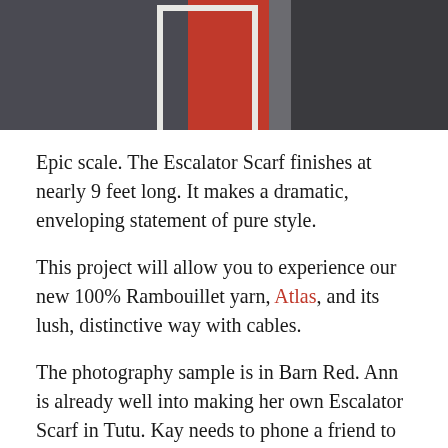[Figure (photo): Two people holding a large red cable-knit scarf between them, framed by a white ladder or frame prop. The person on the left wears dark clothing, the person on the right wears a dark top. The scarf is bright red.]
Epic scale. The Escalator Scarf finishes at nearly 9 feet long. It makes a dramatic, enveloping statement of pure style.
This project will allow you to experience our new 100% Rambouillet yarn, Atlas, and its lush, distinctive way with cables.
The photography sample is in Barn Red. Ann is already well into making her own Escalator Scarf in Tutu. Kay needs to phone a friend to help choose her color, but she has her eye on Lapis, for a swath of brilliant blue worthy of Matisse.